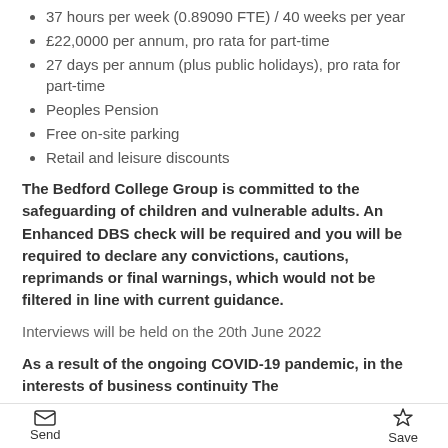37 hours per week (0.89090 FTE) / 40 weeks per year
£22,0000 per annum, pro rata for part-time
27 days per annum (plus public holidays), pro rata for part-time
Peoples Pension
Free on-site parking
Retail and leisure discounts
The Bedford College Group is committed to the safeguarding of children and vulnerable adults. An Enhanced DBS check will be required and you will be required to declare any convictions, cautions, reprimands or final warnings, which would not be filtered in line with current guidance.
Interviews will be held on the 20th June 2022
As a result of the ongoing COVID-19 pandemic, in the interests of business continuity The Bedford College Group may conduct our
Send  Save